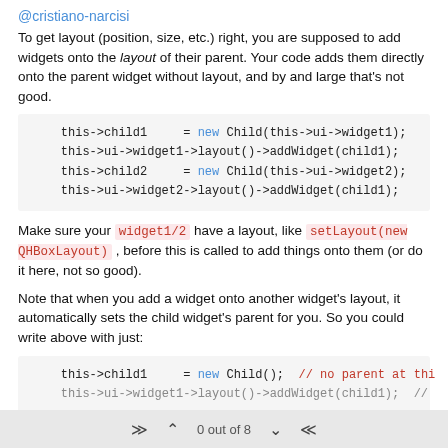@cristiano-narcisi
To get layout (position, size, etc.) right, you are supposed to add widgets onto the layout of their parent. Your code adds them directly onto the parent widget without layout, and by and large that's not good.
this->child1     = new Child(this->ui->widget1);
this->ui->widget1->layout()->addWidget(child1);
this->child2     = new Child(this->ui->widget2);
this->ui->widget2->layout()->addWidget(child1);
Make sure your widget1/2 have a layout, like setLayout(new QHBoxLayout) , before this is called to add things onto them (or do it here, not so good).
Note that when you add a widget onto another widget's layout, it automatically sets the child widget's parent for you. So you could write above with just:
this->child1     = new Child();  // no parent at this
this->ui->widget1->layout()->addWidget(child1);  //
0 out of 8